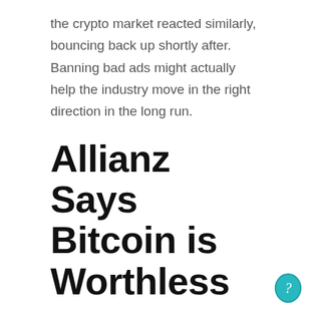the crypto market reacted similarly, bouncing back up shortly after. Banning bad ads might actually help the industry move in the right direction in the long run.
Allianz Says Bitcoin is Worthless
For those cryptocurrency investors who didn’t get distracted by this report, there came the head of global economics and strategy at Allianz Global Investors to put his two cents about Bitcoin. He said that Bitcoin